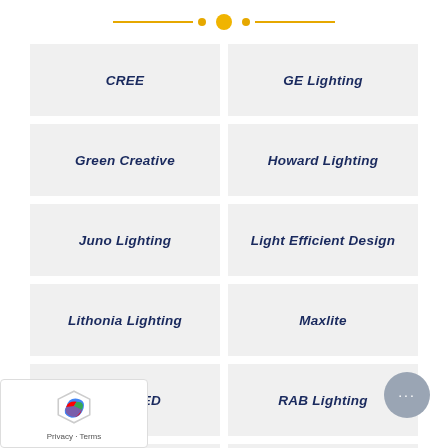[Figure (other): Decorative horizontal divider with gold lines and dots]
CREE
GE Lighting
Green Creative
Howard Lighting
Juno Lighting
Light Efficient Design
Lithonia Lighting
Maxlite
NaturaLED
RAB Lighting
Sylvania
Wago